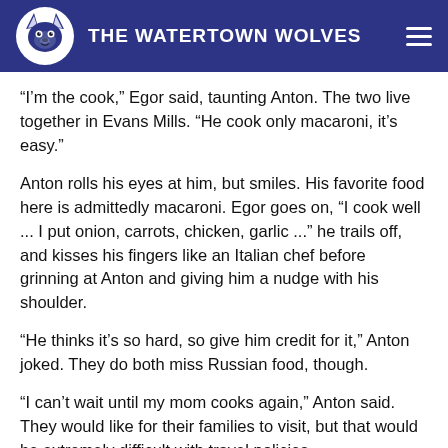THE WATERTOWN WOLVES
“I’m the cook,” Egor said, taunting Anton. The two live together in Evans Mills. “He cook only macaroni, it’s easy.”
Anton rolls his eyes at him, but smiles. His favorite food here is admittedly macaroni. Egor goes on, “I cook well ... I put onion, carrots, chicken, garlic ...” he trails off, and kisses his fingers like an Italian chef before grinning at Anton and giving him a nudge with his shoulder.
“He thinks it’s so hard, so give him credit for it,” Anton joked. They do both miss Russian food, though.
“I can’t wait until my mom cooks again,” Anton said. They would like for their families to visit, but that would be extremely difficult with travel policies.